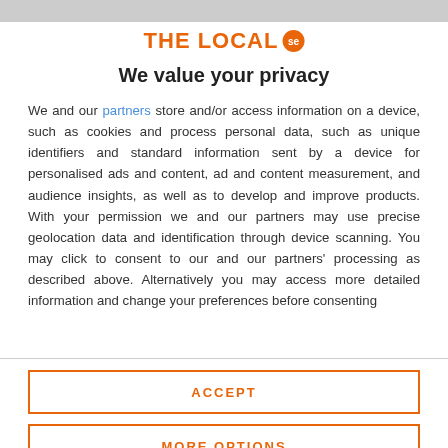[Figure (logo): The Local SE logo - orange text with orange circular badge]
We value your privacy
We and our partners store and/or access information on a device, such as cookies and process personal data, such as unique identifiers and standard information sent by a device for personalised ads and content, ad and content measurement, and audience insights, as well as to develop and improve products. With your permission we and our partners may use precise geolocation data and identification through device scanning. You may click to consent to our and our partners' processing as described above. Alternatively you may access more detailed information and change your preferences before consenting
ACCEPT
MORE OPTIONS
next year